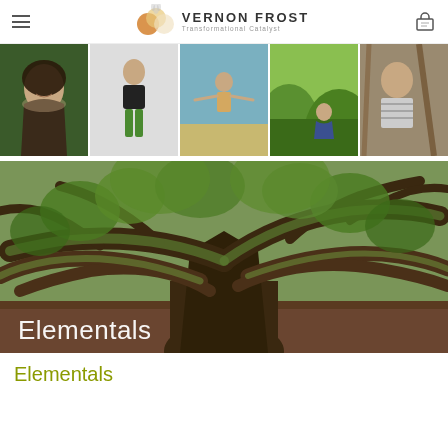Vernon Frost – Transformational Catalyst
[Figure (photo): Five-panel photo strip showing people in nature: smiling woman with long dark hair, man in black top and green shorts, person on beach with arms outstretched, person sitting in green hills, man smiling in striped shirt near wooden structure]
[Figure (photo): Large banner photo of a massive ancient oak tree with wide-spreading moss-covered branches, with the word 'Elementals' overlaid in white text at the bottom left]
Elementals